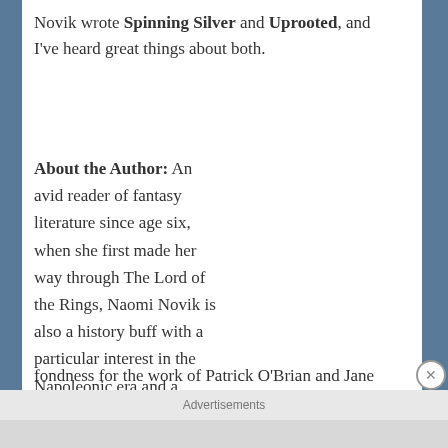Novik wrote Spinning Silver and Uprooted, and I've heard great things about both.
About the Author: An avid reader of fantasy literature since age six, when she first made her way through The Lord of the Rings, Naomi Novik is also a history buff with a particular interest in the Napoleonic era and a fondness for the work of Patrick O'Brian and Jane
[Figure (photo): Portrait photo of Naomi Novik, a woman with curly brown hair and glasses, wearing an orange jacket, smiling at the camera against a light background.]
Advertisements